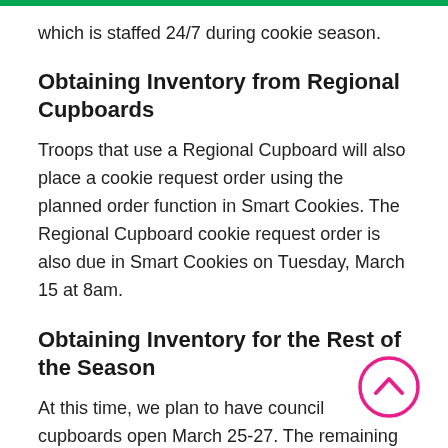which is staffed 24/7 during cookie season.
Obtaining Inventory from Regional Cupboards
Troops that use a Regional Cupboard will also place a cookie request order using the planned order function in Smart Cookies. The Regional Cupboard cookie request order is also due in Smart Cookies on Tuesday, March 15 at 8am.
Obtaining Inventory for the Rest of the Season
At this time, we plan to have council cupboards open March 25-27. The remaining inventory will
[Figure (illustration): Pink circle with upward-pointing chevron arrow inside, scroll-to-top button]